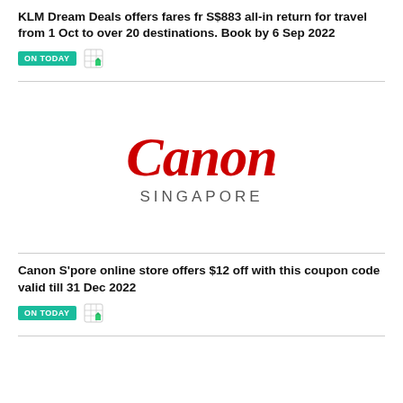KLM Dream Deals offers fares fr S$883 all-in return for travel from 1 Oct to over 20 destinations. Book by 6 Sep 2022
[Figure (logo): Canon Singapore logo — 'Canon' in large red italic serif font, 'SINGAPORE' in grey spaced capitals below]
Canon S'pore online store offers $12 off with this coupon code valid till 31 Dec 2022